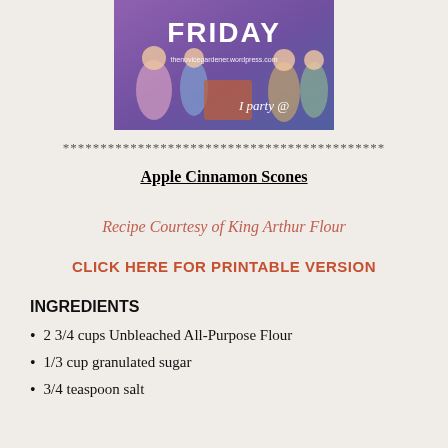[Figure (illustration): Colorful illustrated banner image with 'FRIDAY' text and figures, with text 'thenovicegardener.wordpress.com' and 'I party @']
*******************************************
Apple Cinnamon Scones
Recipe Courtesy of King Arthur Flour
CLICK HERE FOR PRINTABLE VERSION
INGREDIENTS
2 3/4 cups Unbleached All-Purpose Flour
1/3 cup granulated sugar
3/4 teaspoon salt